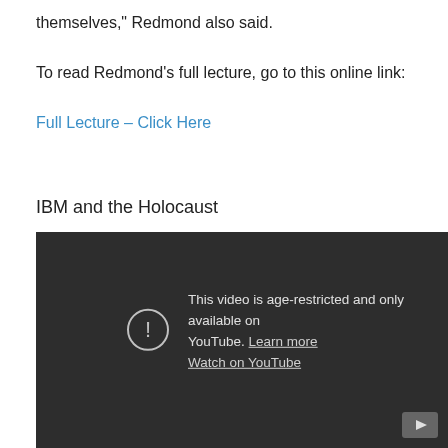themselves," Redmond also said.
To read Redmond's full lecture, go to this online link:
Full Lecture – Click Here
IBM and the Holocaust
[Figure (screenshot): Embedded YouTube video player showing age-restriction message: 'This video is age-restricted and only available on YouTube. Learn more. Watch on YouTube.' with a play button in the bottom right.]